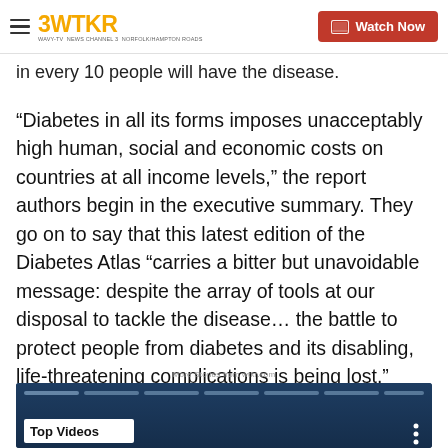3WTKR | Watch Now
in every 10 people will have the disease.
“Diabetes in all its forms imposes unacceptably high human, social and economic costs on countries at all income levels,” the report authors begin in the executive summary. They go on to say that this latest edition of the Diabetes Atlas “carries a bitter but unavoidable message: despite the array of tools at our disposal to tackle the disease… the battle to protect people from diabetes and its disabling, life-threatening complications is being lost.”
More Stories from wtkr.com
[Figure (screenshot): Video player showing Top Videos section with dark blue background and progress bar segments]